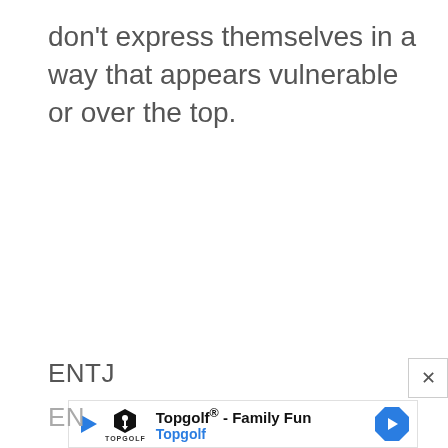don't express themselves in a way that appears vulnerable or over the top.
ENTJ
[Figure (screenshot): Advertisement banner for Topgolf® - Family Fun, showing Topgolf logo, play button, text 'Topgolf® - Family Fun' and 'Topgolf' in blue, with a blue navigation arrow icon on the right.]
EN